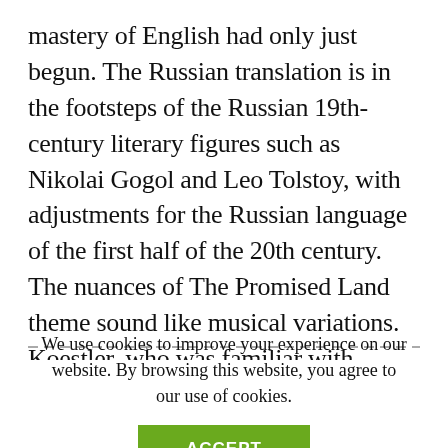mastery of English had only just begun. The Russian translation is in the footsteps of the Russian 19th-century literary figures such as Nikolai Gogol and Leo Tolstoy, with adjustments for the Russian language of the first half of the 20th century. The nuances of The Promised Land theme sound like musical variations. Koestler, who was familiar with Russian, evaluated the translation as an “excellent Russian version.”
We use cookies to improve your experience on our website. By browsing this website, you agree to our use of cookies.
ACCEPT